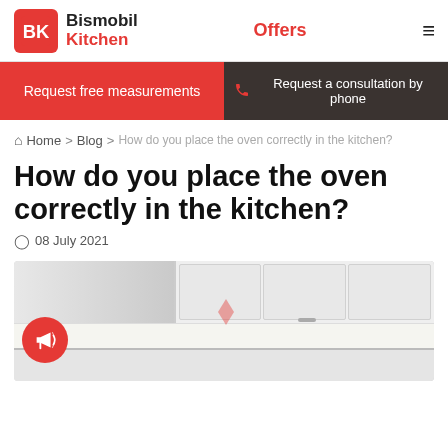Bismobil Kitchen — Offers
Request free measurements | Request a consultation by phone
Home > Blog > How do you place the oven correctly in the kitchen?
How do you place the oven correctly in the kitchen?
08 July 2021
[Figure (photo): Kitchen interior showing white upper cabinets and countertop area]